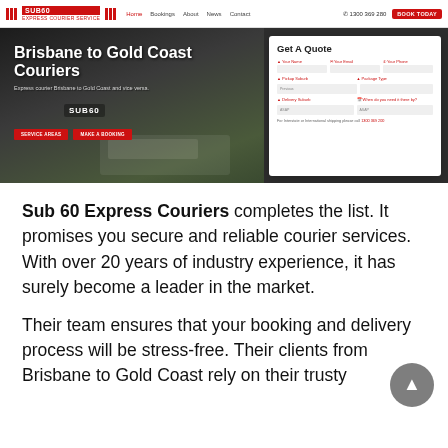[Figure (screenshot): Screenshot of Sub 60 Express Couriers website showing navigation bar with logo, menu links, phone number 1300 369 280, and BOOK TODAY button]
[Figure (screenshot): Hero banner of Sub 60 Express Couriers website showing delivery van, 'Brisbane to Gold Coast Couriers' heading, subtext 'Express courier Brisbane to Gold Coast and vice versa.', two red buttons 'SERVICE AREAS' and 'MAKE A BOOKING', and a 'Get A Quote' form panel on the right with fields for Your Name, Your Email, Your Phone, Pickup Suburb, Package Type, Delivery Suburb, When do you need it there by? and a note about interstate/international shipping]
Sub 60 Express Couriers completes the list. It promises you secure and reliable courier services. With over 20 years of industry experience, it has surely become a leader in the market.
Their team ensures that your booking and delivery process will be stress-free. Their clients from Brisbane to Gold Coast rely on their trusty